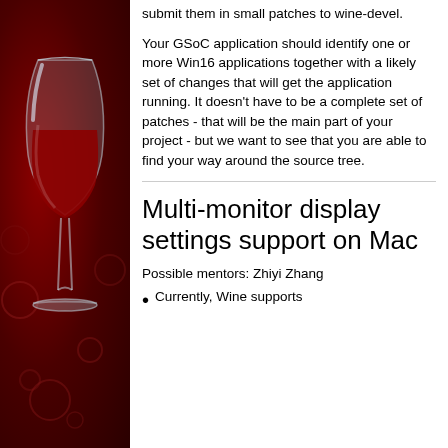[Figure (illustration): Wine project logo: a white wine glass with red wine against a dark red background with subtle bubble/circle patterns]
submit them in small patches to wine-devel.
Your GSoC application should identify one or more Win16 applications together with a likely set of changes that will get the application running. It doesn't have to be a complete set of patches - that will be the main part of your project - but we want to see that you are able to find your way around the source tree.
Multi-monitor display settings support on Mac
Possible mentors: Zhiyi Zhang
Currently, Wine supports